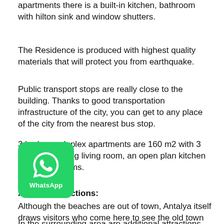apartments there is a built-in kitchen, bathroom with hilton sink and window shutters.
The Residence is produced with highest quality materials that will protect you from earthquake.
Public transport stops are really close to the building. Thanks to good transportation infrastructure of the city, you can get to any place of the city from the nearest bus stop.
3 bedroom duplex apartments are 160 m2 with 3 bedrooms, a big living room, an open plan kitchen and 2 bathrooms.
Antalya Attractions:
Although the beaches are out of town, Antalya itself draws visitors who come here to see the old town with its picturesque harbor and the excellent Archaeological Museum. Its outstanding exhibits provide fascinating glimpses into ancient and modern life of the region.
In the surrounding area are additional attractions such as